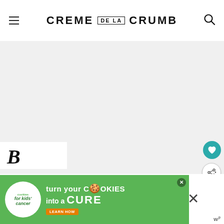CREME DE LA CRUMB
[Figure (photo): Large light gray placeholder image area for a recipe photo]
[Figure (screenshot): What's Next panel showing Baked Honey Sriracha Lim... with a teal arrow]
B...
[Figure (infographic): Green advertisement banner: cookies for kids cancer - turn your COOKIES into a CURE LEARN HOW with close button and WP logo]